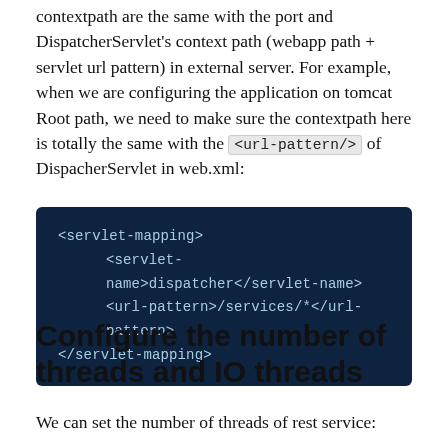contextpath are the same with the port and DispatcherServlet's context path (webapp path + servlet url pattern) in external server. For example, when we are configuring the application on tomcat Root path, we need to make sure the contextpath here is totally the same with the <url-pattern/> of DispacherServlet in web.xml:
[Figure (screenshot): Dark blue code block showing XML servlet-mapping configuration: <servlet-mapping> with child elements <servlet-name>dispatcher</servlet-name> and <url-pattern>/services/*</url-pattern>, closing with </servlet-mapping>]
Configure the number of threads and IO threads
We can set the number of threads of rest service: